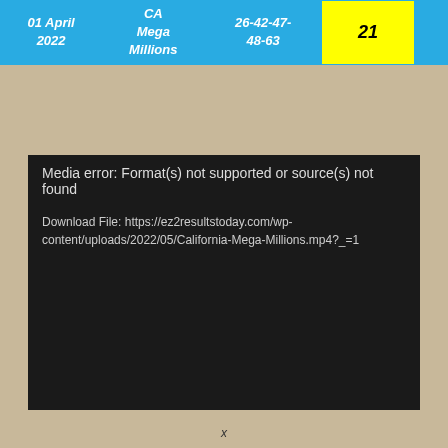| Date | Lottery | Numbers | Bonus |
| --- | --- | --- | --- |
| 01 April 2022 | CA Mega Millions | 26-42-47-48-63 | 21 |
[Figure (screenshot): Black video player box showing media error: 'Media error: Format(s) not supported or source(s) not found' with download file link to https://ez2resultstoday.com/wp-content/uploads/2022/05/California-Mega-Millions.mp4?_=1]
x